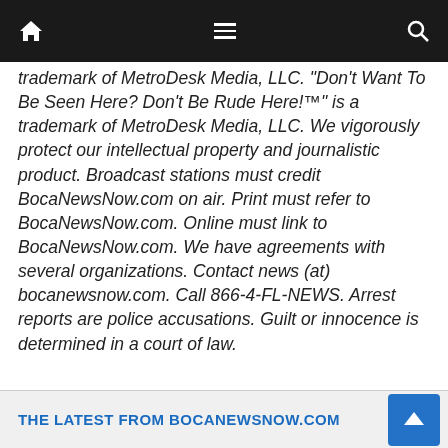[Navigation bar with home, menu, and search icons]
trademark of MetroDesk Media, LLC. “Don’t Want To Be Seen Here? Don’t Be Rude Here!™” is a trademark of MetroDesk Media, LLC. We vigorously protect our intellectual property and journalistic product. Broadcast stations must credit BocaNewsNow.com on air. Print must refer to BocaNewsNow.com. Online must link to BocaNewsNow.com. We have agreements with several organizations. Contact news (at) bocanewsnow.com. Call 866-4-FL-NEWS. Arrest reports are police accusations. Guilt or innocence is determined in a court of law.
THE LATEST FROM BOCANEWSNOW.COM